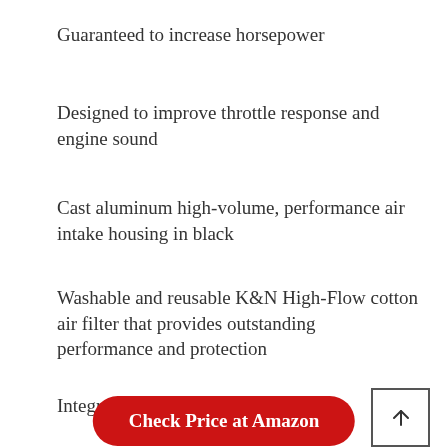Guaranteed to increase horsepower
Designed to improve throttle response and engine sound
Cast aluminum high-volume, performance air intake housing in black
Washable and reusable K&N High-Flow cotton air filter that provides outstanding performance and protection
Integrated internal velocity stack
Check Price at Amazon